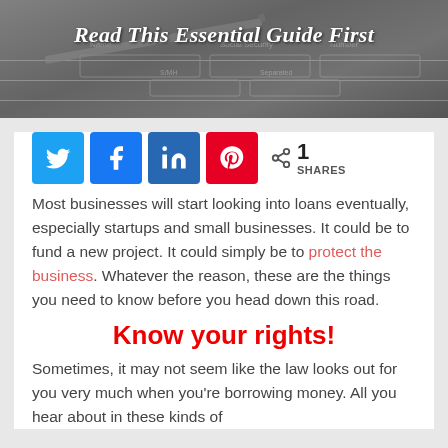[Figure (photo): Hero image of a tax/loan form with a pen, overlaid with italic bold white text 'Read This Essential Guide First']
[Figure (infographic): Social share buttons row: Twitter (blue), Facebook (blue), LinkedIn (dark blue), Pinterest (red), and a share count showing '1 SHARES']
Most businesses will start looking into loans eventually, especially startups and small businesses. It could be to fund a new project. It could simply be to protect the business. Whatever the reason, these are the things you need to know before you head down this road.
Know your rights!
Sometimes, it may not seem like the law looks out for you very much when you're borrowing money. All you hear about in these kinds of